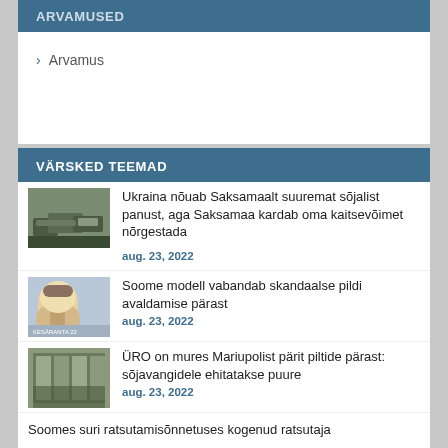ARVAMUSED
Arvamus
VÄRSKED TEEMAD
Ukraina nõuab Saksamaalt suuremat sõjalist panust, aga Saksamaa kardab oma kaitsevõimet nõrgestada
aug. 23, 2022
Soome modell vabandab skandaalse pildi avaldamise pärast
aug. 23, 2022
ÜRO on mures Mariupolist pärit piltide pärast: sõjavangidele ehitatakse puure
aug. 23, 2022
Soomes suri ratsutamisõnnetuses kogenud ratsutaja